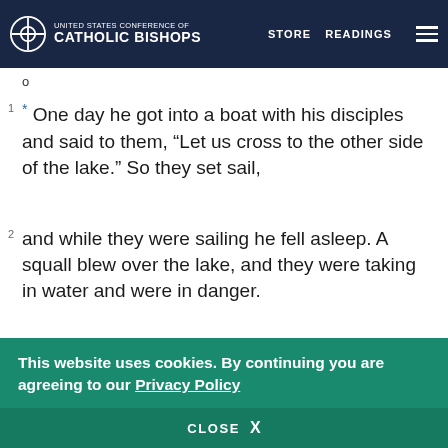UNITED STATES CONFERENCE OF CATHOLIC BISHOPS | STORE | READINGS
The Calming of a Storm at Sea
o
* One day he got into a boat with his disciples and said to them, “Let us cross to the other side of the lake.” So they set sail,
and while they were sailing he fell asleep. A squall blew over the lake, and they were taking in water and were in danger.
They came and woke him saying, “Master, master,
This website uses cookies. By continuing you are agreeing to our Privacy Policy
CLOSE X